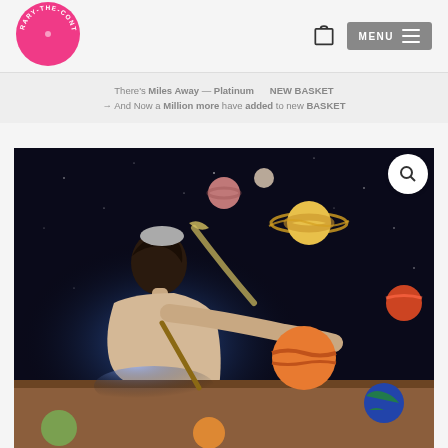[Figure (logo): Pink circular logo with text 'RARY-THE-CONTEMPORARY' arranged in a circle]
[Figure (other): Shopping bag icon (outlined)]
[Figure (other): Menu button with hamburger icon lines, grey background, text MENU]
There's Miles Away — Platinum → NEW BASKET → And Now a Million more have added to new BASKET
[Figure (photo): Collage artwork showing a person bending over a surface with planets and space imagery surrounding them, including Saturn with rings, Earth, and various other celestial bodies against a dark starry background]